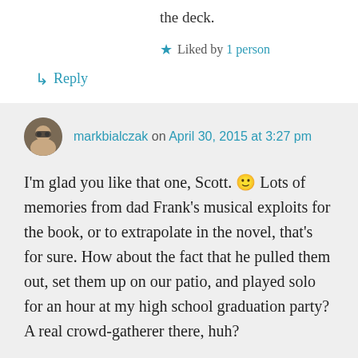the deck.
★ Liked by 1 person
↳ Reply
markbialczak on April 30, 2015 at 3:27 pm
I'm glad you like that one, Scott. 🙂 Lots of memories from dad Frank's musical exploits for the book, or to extrapolate in the novel, that's for sure. How about the fact that he pulled them out, set them up on our patio, and played solo for an hour at my high school graduation party? A real crowd-gatherer there, huh?
Hey, I would have dug your musical tastes